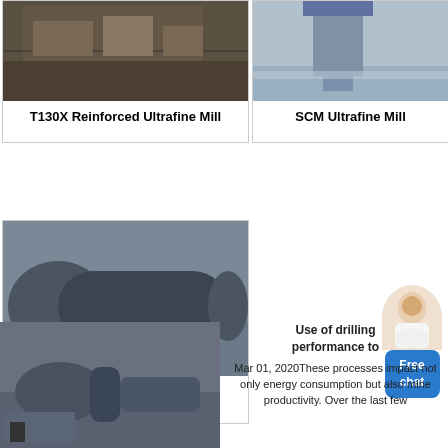[Figure (photo): T130X Reinforced Ultrafine Mill machine in factory setting]
T130X Reinforced Ultrafine Mill
[Figure (photo): SCM Ultrafine Mill machine in factory setting]
SCM Ultrafine Mill
[Figure (photo): Ball Mill industrial machine in factory]
Ball Mill
[Figure (photo): Large industrial grinding mill machine in factory]
Use of drilling performance to Mar 01, 2020These processes impact not only energy consumption but also mine productivity. Over the last few